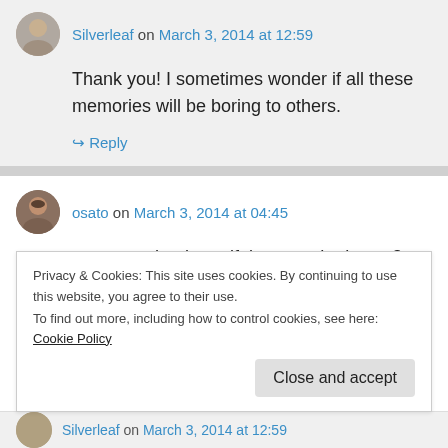Silverleaf on March 3, 2014 at 12:59
Thank you! I sometimes wonder if all these memories will be boring to others.
↳ Reply
osato on March 3, 2014 at 04:45
wow....such a beautiful post...who knew 3 red chairs could evoke such memories, nicely done!
Privacy & Cookies: This site uses cookies. By continuing to use this website, you agree to their use.
To find out more, including how to control cookies, see here: Cookie Policy
Close and accept
Silverleaf on March 3, 2014 at 12:59